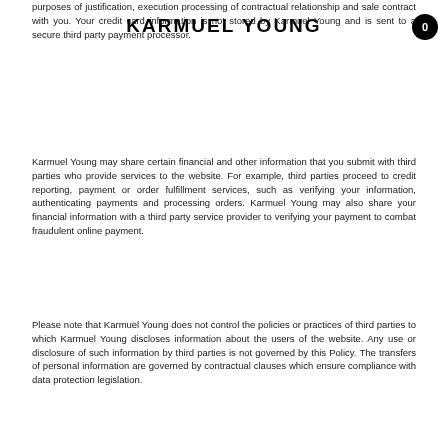KARMUEL YOUNG
purposes of justification, execution processing of contractual relationship and sale contract with you. Your credit card information is not stored by Karmuel Young and is sent to a secure third party payment processor.
Karmuel Young may share certain financial and other information that you submit with third parties who provide services to the website. For example, third parties proceed to credit reporting, payment or order fulfillment services, such as verifying your information, authenticating payments and processing orders. Karmuel Young may also share your financial information with a third party service provider to verifying your payment to combat fraudulent online payment.
Please note that Karmuel Young does not control the policies or practices of third parties to which Karmuel Young discloses information about the users of the website. Any use or disclosure of such information by third parties is not governed by this Policy. The transfers of personal information are governed by contractual clauses which ensure compliance with data protection legislation.